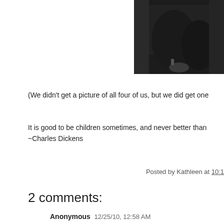[Figure (photo): Black and white photograph of a person wearing a dark shirt, arms crossed, partial view cropped at right edge of page]
(We didn't get a picture of all four of us, but we did get one
It is good to be children sometimes, and never better than
~Charles Dickens
Posted by Kathleen at 10:1
2 comments:
Anonymous 12/25/10, 12:58 AM